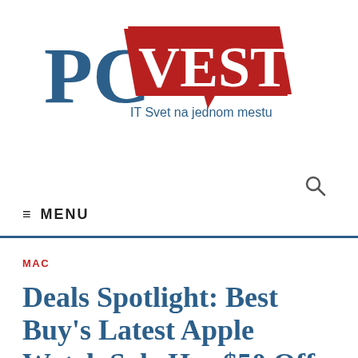[Figure (logo): PC Vesti logo - 'PC' in dark blue serif font, 'VESTI' in white on red banner shape, tagline 'IT Svet na jednom mestu' in blue below the red banner]
[Figure (other): Search (magnifying glass) icon in grey]
≡ MENU
MAC
Deals Spotlight: Best Buy's Latest Apple Watch Sale Has $50 Off Series 4